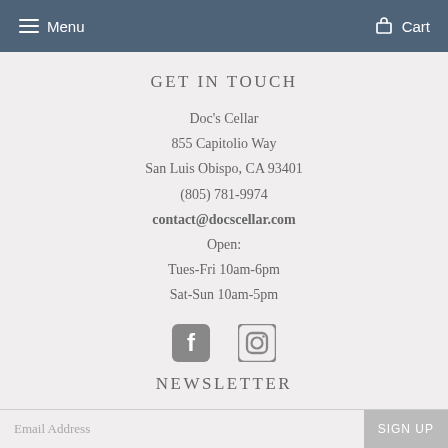Menu  Cart
GET IN TOUCH
Doc's Cellar
855 Capitolio Way
San Luis Obispo, CA 93401
(805) 781-9974
contact@docscellar.com
Open:
Tues-Fri 10am-6pm
Sat-Sun 10am-5pm
[Figure (illustration): Facebook and Instagram social media icons]
NEWSLETTER
Email Address
SIGN UP